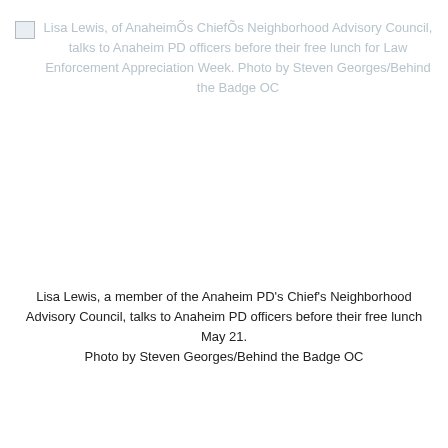[Figure (photo): Broken/missing image placeholder with alt text: Lisa Lewis, of AnaheimÕs ChiefÕs Neighborhood Advisory Council, talks to Anaheim PD officers before their free lunch for Law Enforcement Appreciation Week. Photo by Steven Georges/Behind the Badge OC]
Lisa Lewis, a member of the Anaheim PD’s Chief’s Neighborhood Advisory Council, talks to Anaheim PD officers before their free lunch May 21.
Photo by Steven Georges/Behind the Badge OC